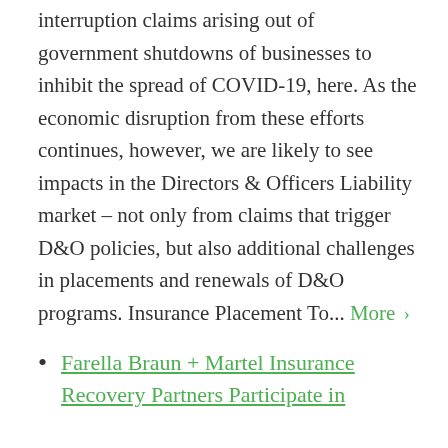interruption claims arising out of government shutdowns of businesses to inhibit the spread of COVID-19, here. As the economic disruption from these efforts continues, however, we are likely to see impacts in the Directors & Officers Liability market – not only from claims that trigger D&O policies, but also additional challenges in placements and renewals of D&O programs. Insurance Placement To... More ›
Farella Braun + Martel Insurance Recovery Partners Participate in